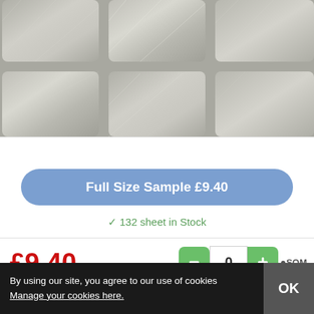[Figure (photo): Close-up photo of brushed stainless steel square tiles arranged in a grid pattern with white grout lines]
Full Size Sample £9.40
✓ 132 sheet in Stock
£9.40 / sheet
0 •SQM
By using our site, you agree to our use of cookies Manage your cookies here.